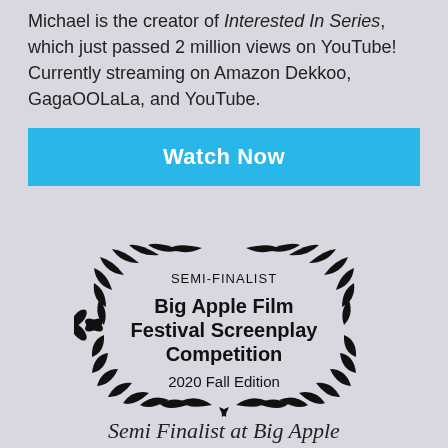Michael is the creator of Interested In Series, which just passed 2 million views on YouTube! Currently streaming on Amazon Dekkoo, GagaOOLaLa, and YouTube.
[Figure (other): A blue 'Watch Now' button]
[Figure (illustration): Laurel wreath badge reading: SEMI-FINALIST / Big Apple Film Festival Screenplay Competition / 2020 Fall Edition]
Semi Finalist at Big Apple